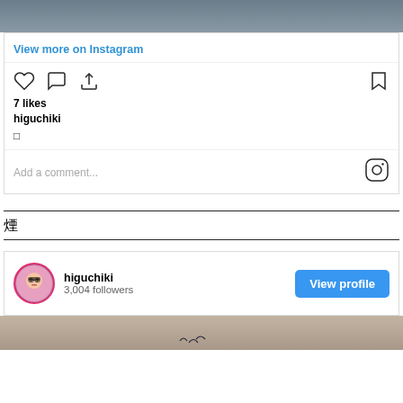[Figure (screenshot): Top portion of a photo (blurred/dark image background)]
View more on Instagram
[Figure (other): Instagram action icons: heart, comment, share, bookmark]
7 likes
higuchiki
□
Add a comment...
[Figure (logo): Instagram camera logo icon]
煙
[Figure (photo): Profile avatar circle with illustrated face]
higuchiki
3,004 followers
View profile
[Figure (photo): Bottom portion of a skin/tattoo photo showing bird shapes]